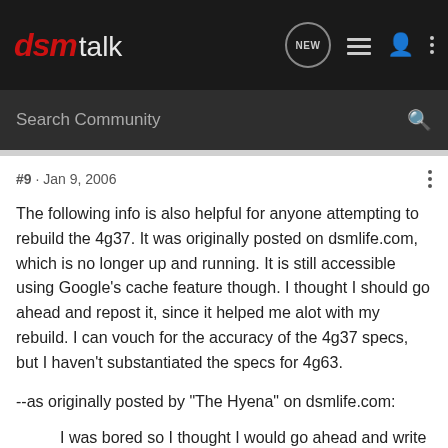[Figure (screenshot): DSMtalk website logo — 'dsm' in red italic bold and 'talk' in light grey, on dark background]
dsmtalk — navigation bar with NEW, list, user, and more icons; Search Community search bar
#9 · Jan 9, 2006
The following info is also helpful for anyone attempting to rebuild the 4g37. It was originally posted on dsmlife.com, which is no longer up and running. It is still accessible using Google's cache feature though. I thought I should go ahead and repost it, since it helped me alot with my rebuild. I can vouch for the accuracy of the 4g37 specs, but I haven't substantiated the specs for 4g63.
--as originally posted by "The Hyena" on dsmlife.com:
I was bored so I thought I would go ahead and write this up. These are the torque specs required on different bolts/ in the engine bay (taken from my adventures through the haynes